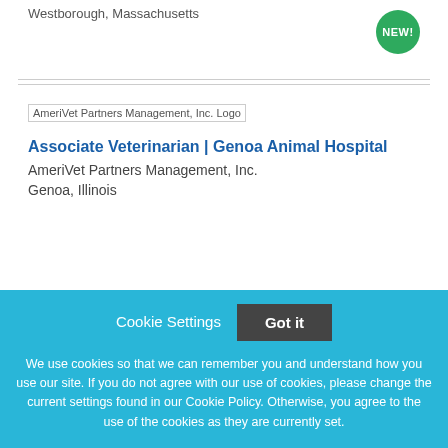Westborough, Massachusetts
[Figure (logo): AmeriVet Partners Management, Inc. Logo placeholder image]
Associate Veterinarian | Genoa Animal Hospital
AmeriVet Partners Management, Inc.
Genoa, Illinois
Cookie Settings  Got it

We use cookies so that we can remember you and understand how you use our site. If you do not agree with our use of cookies, please change the current settings found in our Cookie Policy. Otherwise, you agree to the use of the cookies as they are currently set.